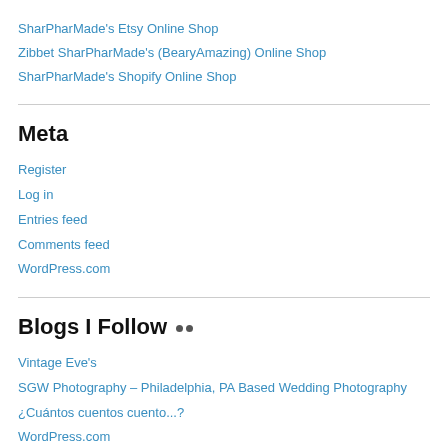SharPharMade's Etsy Online Shop
Zibbet SharPharMade's (BearyAmazing) Online Shop
SharPharMade's Shopify Online Shop
Meta
Register
Log in
Entries feed
Comments feed
WordPress.com
Blogs I Follow ··
Vintage Eve's
SGW Photography – Philadelphia, PA Based Wedding Photography
¿Cuántos cuentos cuento...?
WordPress.com